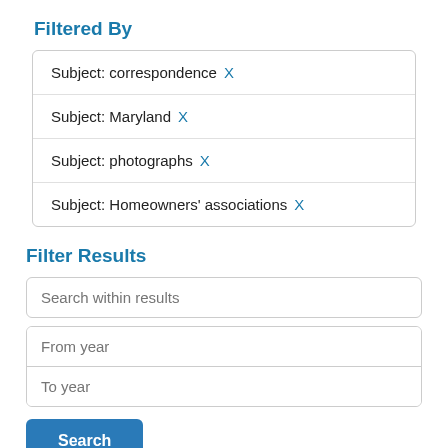Filtered By
Subject: correspondence X
Subject: Maryland X
Subject: photographs X
Subject: Homeowners' associations X
Filter Results
Search within results
From year
To year
Search
Additional Filt…